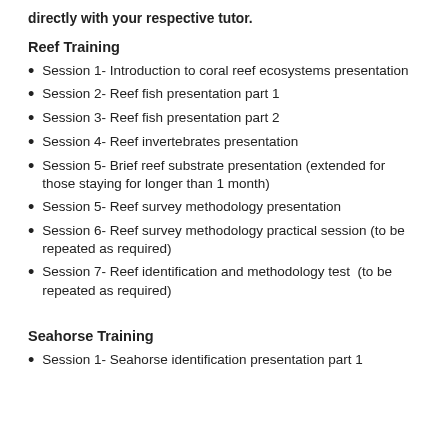directly with your respective tutor.
Reef Training
Session 1- Introduction to coral reef ecosystems presentation
Session 2- Reef fish presentation part 1
Session 3- Reef fish presentation part 2
Session 4- Reef invertebrates presentation
Session 5- Brief reef substrate presentation (extended for those staying for longer than 1 month)
Session 5- Reef survey methodology presentation
Session 6- Reef survey methodology practical session (to be repeated as required)
Session 7- Reef identification and methodology test  (to be repeated as required)
Seahorse Training
Session 1- Seahorse identification presentation part 1